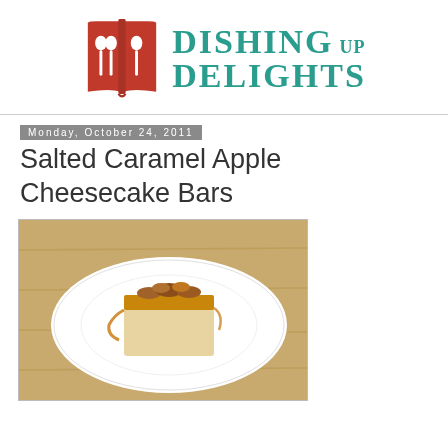[Figure (logo): Dishing Up Delights logo with red open-book icon and teal text]
Monday, October 24, 2011
Salted Caramel Apple Cheesecake Bars
[Figure (photo): A salted caramel apple cheesecake bar on a white plate on a wooden surface]